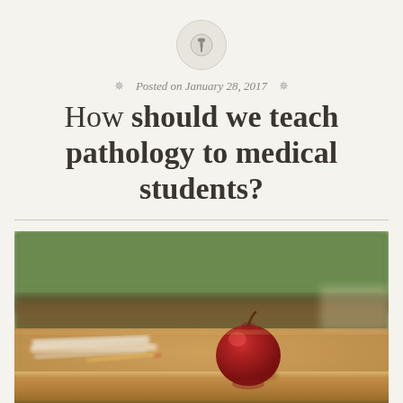[Figure (illustration): A circular pin/pushpin icon on a light beige circle]
Posted on January 28, 2017
How should we teach pathology to medical students?
[Figure (photo): A red apple sitting on a wooden school desk in a classroom, with a blurred green chalkboard in the background and papers on the desk. Shallow depth of field.]